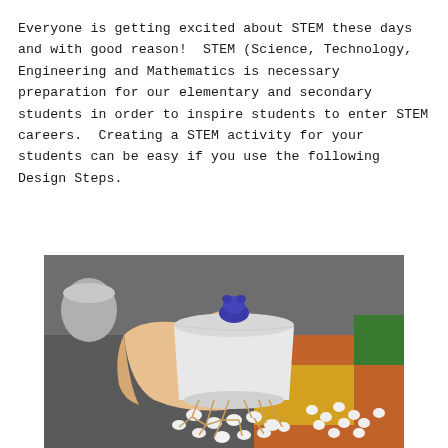Everyone is getting excited about STEM these days and with good reason!  STEM (Science, Technology, Engineering and Mathematics is necessary preparation for our elementary and secondary students in order to inspire students to enter STEM careers.  Creating a STEM activity for your students can be easy if you use the following Design Steps.
[Figure (photo): A hand holding a styrofoam cup with a small blue clay figure on top, supported by a structure made of toothpicks and mini marshmallows, with more marshmallows scattered on the table in the background.]